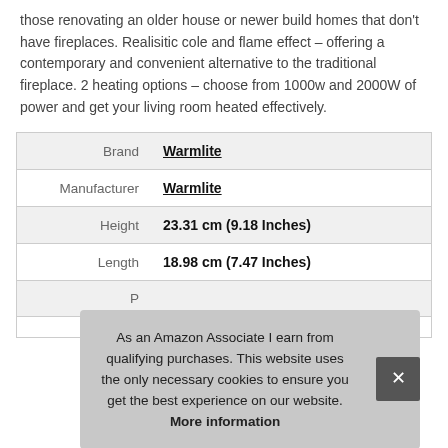those renovating an older house or newer build homes that don't have fireplaces. Realisitic cole and flame effect – offering a contemporary and convenient alternative to the traditional fireplace. 2 heating options – choose from 1000w and 2000W of power and get your living room heated effectively.
|  |  |
| --- | --- |
| Brand | Warmlite |
| Manufacturer | Warmlite |
| Height | 23.31 cm (9.18 Inches) |
| Length | 18.98 cm (7.47 Inches) |
| P |  |
As an Amazon Associate I earn from qualifying purchases. This website uses the only necessary cookies to ensure you get the best experience on our website. More information